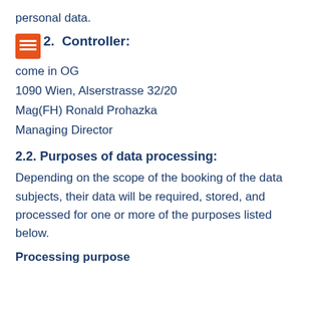personal data.
2. Controller:
come in OG
1090 Wien, Alserstrasse 32/20
Mag(FH) Ronald Prohazka
Managing Director
2.2. Purposes of data processing:
Depending on the scope of the booking of the data subjects, their data will be required, stored, and processed for one or more of the purposes listed below.
Processing purpose